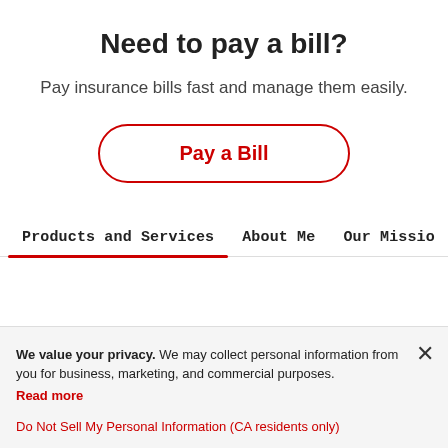Need to pay a bill?
Pay insurance bills fast and manage them easily.
Pay a Bill
Products and Services   About Me   Our Missio
We value your privacy. We may collect personal information from you for business, marketing, and commercial purposes. Read more
Do Not Sell My Personal Information (CA residents only)